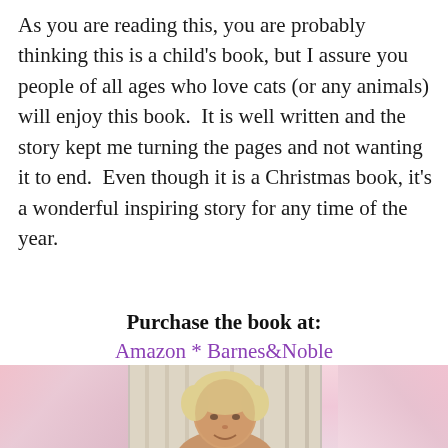As you are reading this, you are probably thinking this is a child’s book, but I assure you people of all ages who love cats (or any animals) will enjoy this book.  It is well written and the story kept me turning the pages and not wanting it to end.  Even though it is a Christmas book, it’s a wonderful inspiring story for any time of the year.
Purchase the book at:
Amazon * Barnes&Noble
[Figure (photo): Photo of an older woman with short blonde/white hair, smiling, against a light background with blurred pink/floral bokeh on the sides]